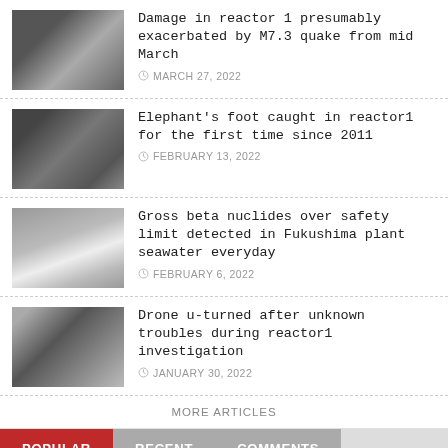Damage in reactor 1 presumably exacerbated by M7.3 quake from mid March — MARCH 27, 2022
Elephant's foot caught in reactor1 for the first time since 2011 — FEBRUARY 13, 2022
Gross beta nuclides over safety limit detected in Fukushima plant seawater everyday — FEBRUARY 6, 2022
Drone u-turned after unknown troubles during reactor1 investigation — JANUARY 30, 2022
MORE ARTICLES
POPULAR | RECENT | COMMENTS
1,000,000 Bq/m3 of Sr-90 detected in seawater of Fukushima